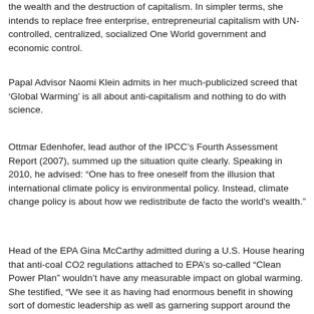the wealth and the destruction of capitalism. In simpler terms, she intends to replace free enterprise, entrepreneurial capitalism with UN-controlled, centralized, socialized One World government and economic control.
Papal Advisor Naomi Klein admits in her much-publicized screed that ‘Global Warming’ is all about anti-capitalism and nothing to do with science.
Ottmar Edenhofer, lead author of the IPCC’s Fourth Assessment Report (2007), summed up the situation quite clearly. Speaking in 2010, he advised: “One has to free oneself from the illusion that international climate policy is environmental policy. Instead, climate change policy is about how we redistribute de facto the world's wealth.”
Head of the EPA Gina McCarthy admitted during a U.S. House hearing that anti-coal CO2 regulations attached to EPA’s so-called “Clean Power Plan” wouldn’t have any measurable impact on global warming. She testified, “We see it as having had enormous benefit in showing sort of domestic leadership as well as garnering support around the country for the governments… and in Paris.”